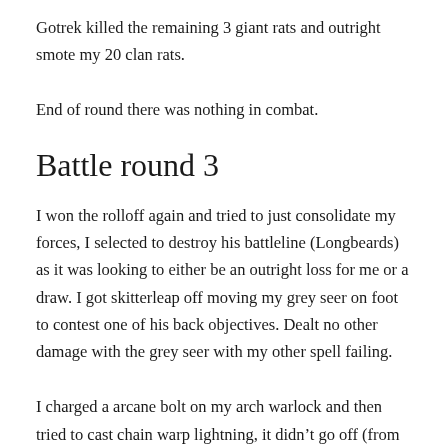Gotrek killed the remaining 3 giant rats and outright smote my 20 clan rats.
End of round there was nothing in combat.
Battle round 3
I won the rolloff again and tried to just consolidate my forces, I selected to destroy his battleline (Longbeards) as it was looking to either be an outright loss for me or a draw. I got skitterleap off moving my grey seer on foot to contest one of his back objectives. Dealt no other damage with the grey seer with my other spell failing.
I charged a arcane bolt on my arch warlock and then tried to cast chain warp lightning, it didn't go off (from memory)